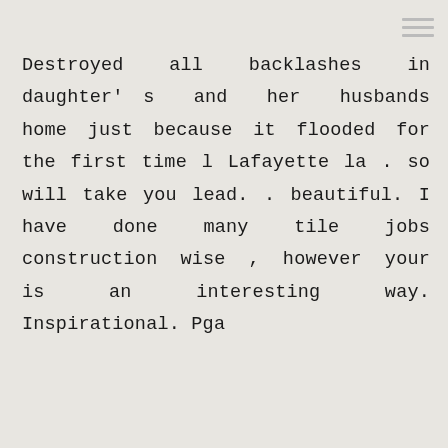Destroyed all backlashes in daughter's and her husbands home just because it flooded for the first time l Lafayette la . so will take you lead. . beautiful. I have done many tile jobs construction wise , however your is an interesting way. Inspirational. Pga